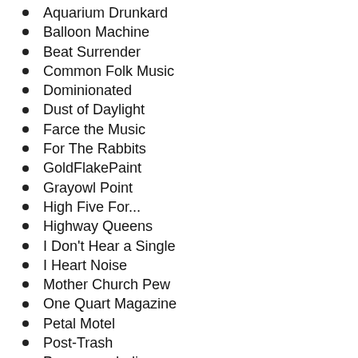Aquarium Drunkard
Balloon Machine
Beat Surrender
Common Folk Music
Dominionated
Dust of Daylight
Farce the Music
For The Rabbits
GoldFlakePaint
Grayowl Point
High Five For...
Highway Queens
I Don't Hear a Single
I Heart Noise
Mother Church Pew
One Quart Magazine
Petal Motel
Post-Trash
Powerpopaholic
Rosvot
Routes & Branches
Said the Gramophone